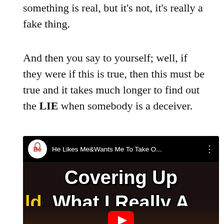something is real, but it's not, it's really a fake thing.
And then you say to yourself; well, if they were if this is true, then this must be true and it takes much longer to find out the LIE when somebody is a deceiver.
[Figure (screenshot): YouTube video thumbnail showing a video titled 'He Likes Me&Wants Me To Take O...' with channel icon (Be Olk forma). The video thumbnail shows bold white text 'Covering Up' and 'What I Really A' with yellow text 'ld' on left side, dandelion in background, and a YouTube play button at bottom.]